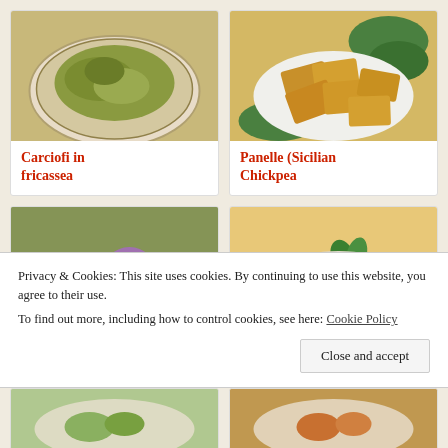[Figure (photo): Carciofi in fricassea - artichokes in a bowl with sauce]
Carciofi in fricassea
[Figure (photo): Panelle (Sicilian Chickpea) - fried chickpea fritters on a plate with greens]
Panelle (Sicilian Chickpea
[Figure (photo): Purple gelato/ice cream scoops in a glass dessert cup]
[Figure (photo): Pasta or gnocchi in tomato sauce in a white bowl with basil]
Privacy & Cookies: This site uses cookies. By continuing to use this website, you agree to their use.
To find out more, including how to control cookies, see here: Cookie Policy
Close and accept